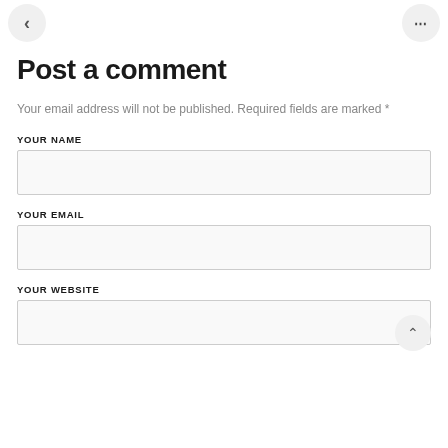[Figure (other): Navigation bar with back arrow button (circle) on left and ellipsis menu button (circle) on right]
Post a comment
Your email address will not be published. Required fields are marked *
YOUR NAME
[Figure (other): Empty text input field for Your Name]
YOUR EMAIL
[Figure (other): Empty text input field for Your Email]
YOUR WEBSITE
[Figure (other): Empty text input field for Your Website, partially visible with a back-to-top arrow button overlapping the bottom right]